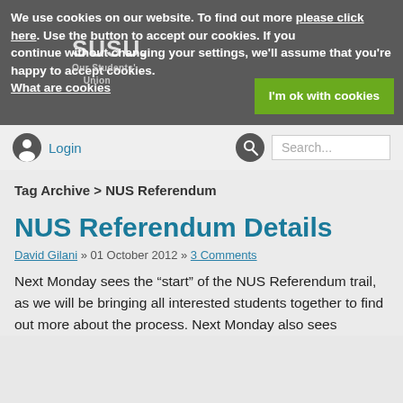We use cookies on our website. To find out more please click here. Use the button to accept our cookies. If you continue without changing your settings, we'll assume that you're happy to accept cookies. What are cookies
I'm ok with cookies
Login
Search...
Tag Archive > NUS Referendum
NUS Referendum Details
David Gilani » 01 October 2012 » 3 Comments
Next Monday sees the “start” of the NUS Referendum trail, as we will be bringing all interested students together to find out more about the process. Next Monday also sees